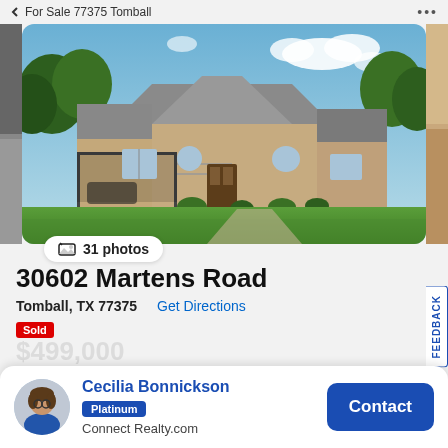For Sale 77375 Tomball
[Figure (photo): Exterior photo of a single-story stone/brick house with a carport, green lawn, trees, and blue sky]
31 photos
30602 Martens Road
Tomball, TX 77375  Get Directions
Cecilia Bonnickson
Platinum
Connect Realty.com
Contact